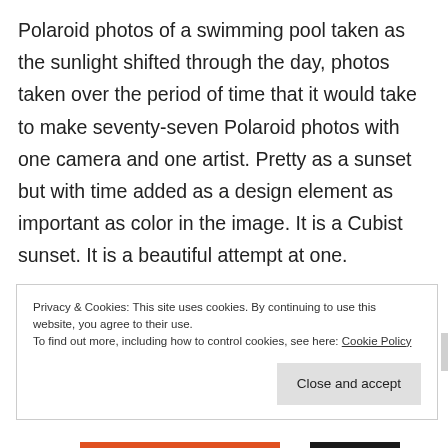Polaroid photos of a swimming pool taken as the sunlight shifted through the day, photos taken over the period of time that it would take to make seventy-seven Polaroid photos with one camera and one artist. Pretty as a sunset but with time added as a design element as important as color in the image. It is a Cubist sunset. It is a beautiful attempt at one.
Privacy & Cookies: This site uses cookies. By continuing to use this website, you agree to their use.
To find out more, including how to control cookies, see here: Cookie Policy
Close and accept